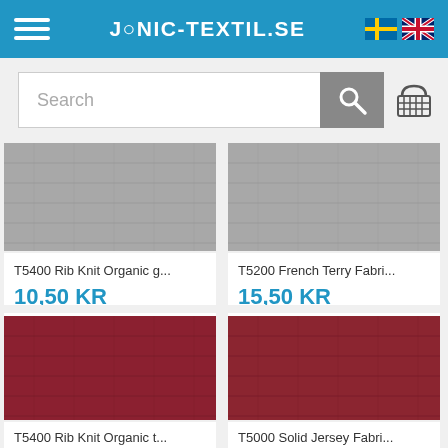JONIC-TEXTIL.SE
[Figure (screenshot): Search bar with magnifying glass icon and shopping cart icon]
[Figure (photo): Gray fabric swatch for T5400 Rib Knit Organic g...]
T5400 Rib Knit Organic g...
10,50 KR
[Figure (photo): Gray fabric swatch for T5200 French Terry Fabri...]
T5200 French Terry Fabri...
15,50 KR
[Figure (photo): Red/burgundy fabric swatch for T5400 Rib Knit Organic t...]
T5400 Rib Knit Organic t...
[Figure (photo): Red/burgundy fabric swatch for T5000 Solid Jersey Fabri...]
T5000 Solid Jersey Fabri...